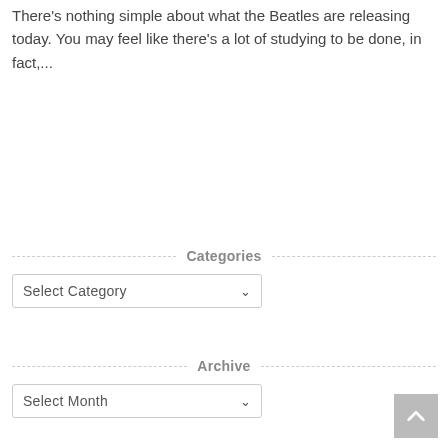There's nothing simple about what the Beatles are releasing today. You may feel like there's a lot of studying to be done, in fact,...
Categories
Select Category
Archive
Select Month